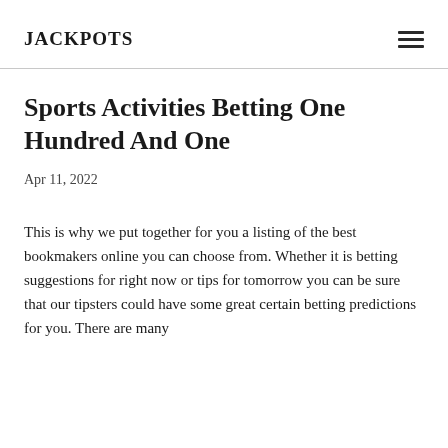JACKPOTS
Sports Activities Betting One Hundred And One
Apr 11, 2022
This is why we put together for you a listing of the best bookmakers online you can choose from. Whether it is betting suggestions for right now or tips for tomorrow you can be sure that our tipsters could have some great certain betting predictions for you. There are many